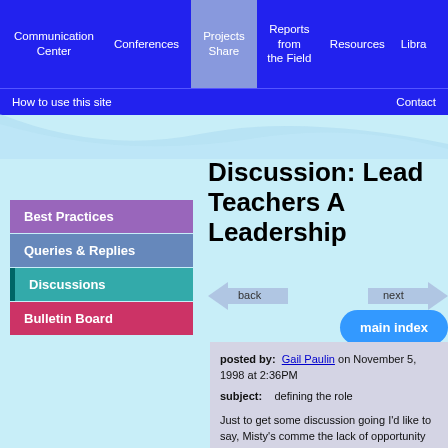Communication Center | Conferences | Projects Share | Reports from the Field | Resources | Library
How to use this site | Contact
Best Practices
Queries & Replies
Discussions
Bulletin Board
Discussion: Lead Teachers A Leadership
back | next | main index
posted by: Gail Paulin on November 5, 1998 at 2:36PM
subject: defining the role
Just to get some discussion going I'd like to say, Misty's comme the lack of opportunity for teachers to engage in reflective discu really fits our situation in Tucson. Our teacher leaders (Collabor Teachers CT's) have just begun in August 98 and they are askin questions about their roles and how best to introduce/facilitate t teacher conversations. Our early work with principals indicate th lack this time with their peers and also with staff. Our CT's are w where to begin? Any one have suggestions? BTW ...There is a very nice little article (3pgs) by Bob Garmsto Expert Teachers Carry a Satchel of Skills JSD Spring 1998 that practical suggestions for setting up dialogue/discussion. It migh for lead teachers.